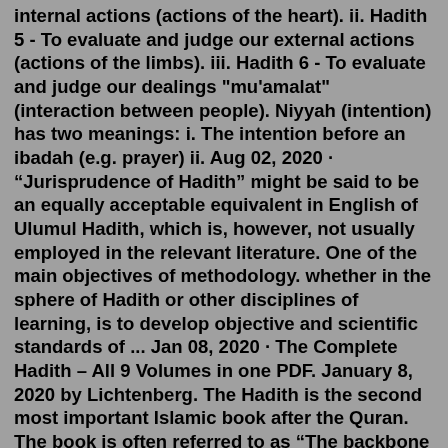internal actions (actions of the heart). ii. Hadith 5 - To evaluate and judge our external actions (actions of the limbs). iii. Hadith 6 - To evaluate and judge our dealings "mu'amalat" (interaction between people). Niyyah (intention) has two meanings: i. The intention before an ibadah (e.g. prayer) ii. Aug 02, 2020 · “Jurisprudence of Hadith” might be said to be an equally acceptable equivalent in English of Ulumul Hadith, which is, however, not usually employed in the relevant literature. One of the main objectives of methodology. whether in the sphere of Hadith or other disciplines of learning, is to develop objective and scientific standards of ... Jan 08, 2020 · The Complete Hadith – All 9 Volumes in one PDF. January 8, 2020 by Lichtenberg. The Hadith is the second most important Islamic book after the Quran. The book is often referred to as “The backbone of Islamic culture” because of its immense influence on Islamic societies, morality, and spiritual life. While the Quran is based solely on revelations written down